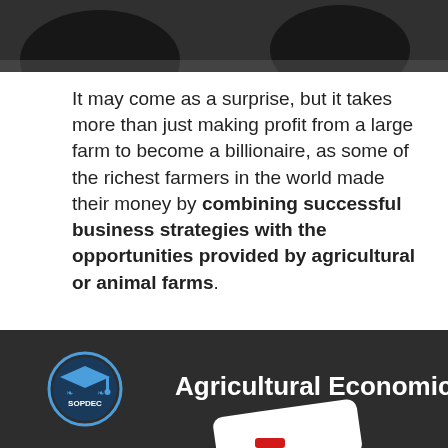[Figure (photo): Dark photo showing people in what appears to be a classroom or library setting, partially visible at top of page]
It may come as a surprise, but it takes more than just making profit from a large farm to become a billionaire, as some of the richest farmers in the world made their money by combining successful business strategies with the opportunities provided by agricultural or animal farms.
Full Answer
[Figure (screenshot): Banner for Agricultural Economics course with SOPDEC logo on dark background]